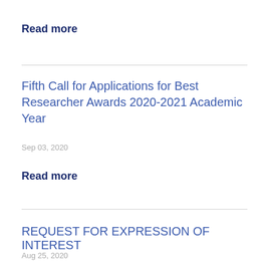Read more
Fifth Call for Applications for Best Researcher Awards 2020-2021 Academic Year
Sep 03, 2020
Read more
REQUEST FOR EXPRESSION OF INTEREST
Aug 25, 2020